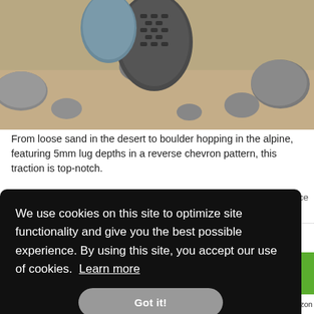[Figure (photo): Close-up photo of hiking shoe sole on rocky sandy terrain, showing tread lugs among boulders and sand.]
From loose sand in the desert to boulder hopping in the alpine, featuring 5mm lug depths in a reverse chevron pattern, this traction is top-notch.
Credit: Steve Mace
Best Bang for Your Buck
[Figure (screenshot): Cookie consent overlay popup with text: We use cookies on this site to optimize site functionality and give you the best possible experience. By using this site, you accept our use of cookies. Learn more. With a 'Got it!' button.]
[Figure (photo): Partial view of a Merrell hiking shoe at the bottom of the page.]